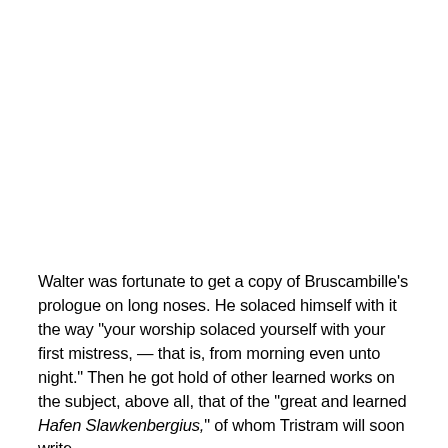Walter was fortunate to get a copy of Bruscambille's prologue on long noses. He solaced himself with it the way "your worship solaced yourself with your first mistress, — that is, from morning even unto night." Then he got hold of other learned works on the subject, above all, that of the "great and learned Hafen Slawkenbergius," of whom Tristram will soon write.